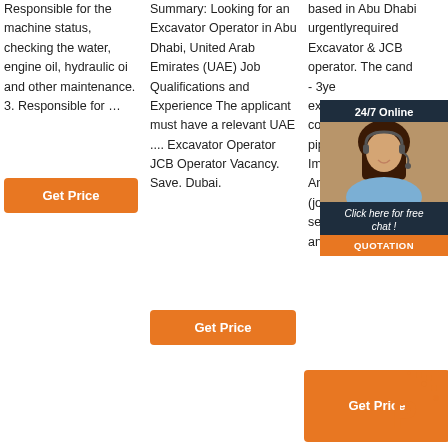Responsible for the machine status, checking the water, engine oil, hydraulic oi and other maintenance. 3. Responsible for …
[Figure (other): Orange 'Get Price' button]
Summary: Looking for an Excavator Operator in Abu Dhabi, United Arab Emirates (UAE) Job Qualifications and Experience The applicant must have a relevant UAE .... Excavator Operator JCB Operator Vacancy. Save. Dubai.
[Figure (other): Orange 'Get Price' button]
based in Abu Dhabi urgentlyrequired Excavator & JCB operator. The candidate - 3years experience in construction pipeline Impor Annual (jobs seeking andemployers...
[Figure (other): Chat widget overlay with '24/7 Online', photo of woman with headset, 'Click here for free chat!', QUOTATION button]
[Figure (other): Orange 'Get Price' button with decorative dots and 'P' logo]
Get Price